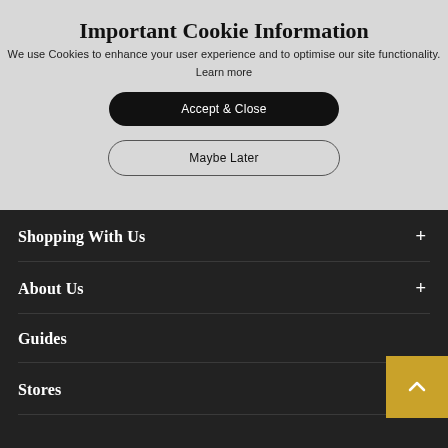Important Cookie Information
We use Cookies to enhance your user experience and to optimise our site functionality.
Learn more
Accept & Close
Maybe Later
Shopping With Us
About Us
Guides
Stores